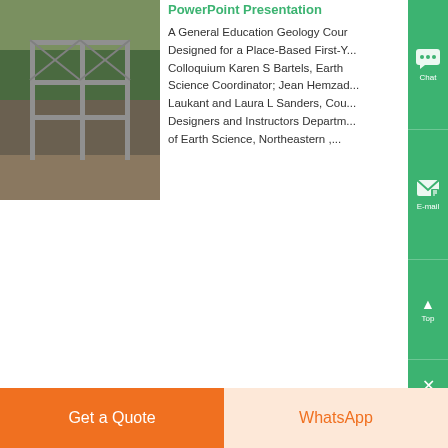[Figure (photo): Scaffolding structure outdoors with trees in background]
PowerPoint Presentation
A General Education Geology Cour... Designed for a Place-Based First-Y... Colloquium Karen S Bartels, Earth Science Coordinator; Jean Hemzad... Laukant and Laura L Sanders, Cou... Designers and Instructors Departm... of Earth Science, Northeastern ,...
More information
[Figure (photo): Industrial facility with tall columns and clear blue sky]
Free Science Lesson Plans / Geology / The Hydrosphere
Scientific Method For Rocks & Mine...
Lessons: Free Geology & Earth